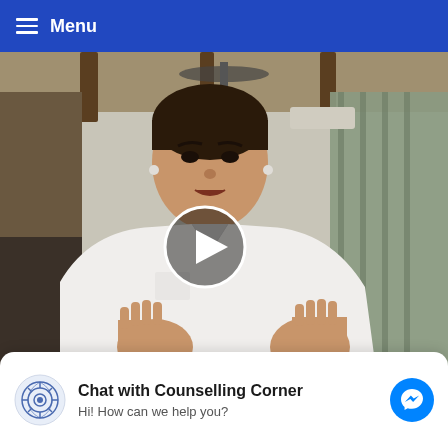Menu
[Figure (screenshot): A man wearing a white shirt with earbuds, speaking or gesturing with hands raised toward his chest, filmed indoors with a ceiling fan, drapes, and dark wood beams visible. A circular play button overlay is centered on the video thumbnail.]
Chat with Counselling Corner
Hi! How can we help you?